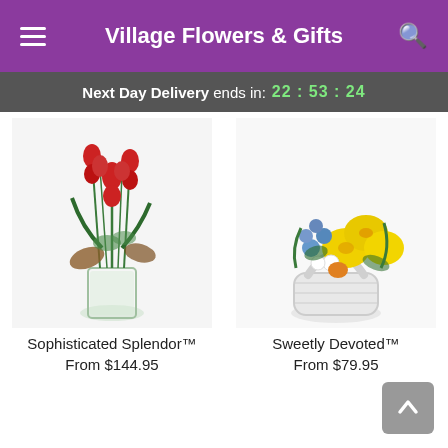Village Flowers & Gifts
Next Day Delivery ends in: 22:53:24
[Figure (photo): Bouquet of tall red gladiolus and tropical flowers in a clear glass vase - Sophisticated Splendor]
Sophisticated Splendor™
From $144.95
[Figure (photo): Arrangement of yellow lilies and blue flowers in a white wicker basket - Sweetly Devoted]
Sweetly Devoted™
From $79.95
[Figure (photo): Partial view of a green and yellow flower arrangement at bottom left]
[Figure (photo): Partial view of an orange lily arrangement at bottom right]